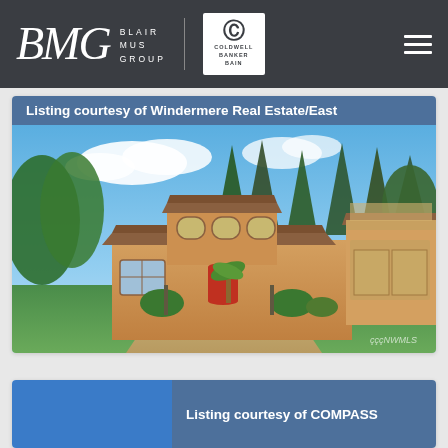BMG Blair Mus Group | Coldwell Banker Bain
[Figure (photo): Exterior photo of a large Mediterranean-style luxury home with tan stucco, tile roof, red front door, circular driveway, and tall evergreen trees in the background under blue sky with clouds. NWMLS watermark visible.]
Listing courtesy of Windermere Real Estate/East
Listing courtesy of COMPASS